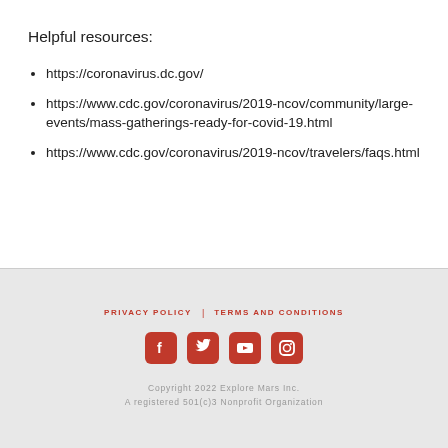Helpful resources:
https://coronavirus.dc.gov/
https://www.cdc.gov/coronavirus/2019-ncov/community/large-events/mass-gatherings-ready-for-covid-19.html
https://www.cdc.gov/coronavirus/2019-ncov/travelers/faqs.html
PRIVACY POLICY   TERMS AND CONDITIONS
Copyright 2022 Explore Mars Inc.
A registered 501(c)3 Nonprofit Organization